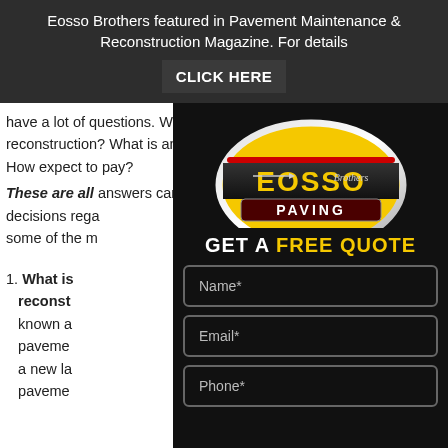Eosso Brothers featured in Pavement Maintenance & Reconstruction Magazine. For details CLICK HERE
have a lot of questions. What is reconstruction? What is an overlay? How expect to pay?
These are all answers can help decisions regarding some of the most
1. What is reconstruction? also known as pavement, a new layer pavement
[Figure (logo): Eosso Brothers Paving logo - yellow circular badge with dark banner showing EOSSO in yellow letters and PAVING in white letters, Brothers in script]
GET A FREE QUOTE
Name*
Email*
Phone*
REQUEST ESTIMATE